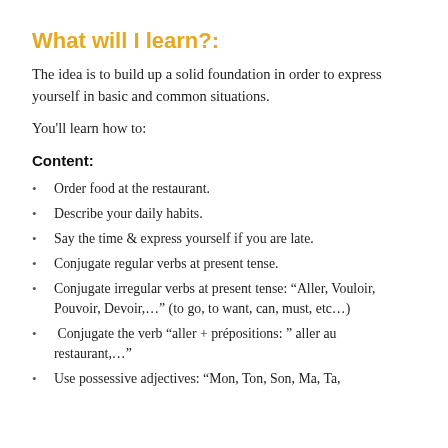What will I learn?:
The idea is to build up a solid foundation in order to express yourself in basic and common situations.
You'll learn how to:
Content:
Order food at the restaurant.
Describe your daily habits.
Say the time & express yourself if you are late.
Conjugate regular verbs at present tense.
Conjugate irregular verbs at present tense: “Aller, Vouloir, Pouvoir, Devoir,…” (to go, to want, can, must, etc…)
Conjugate the verb “aller + prépositions: ” aller au restaurant,…”
Use possessive adjectives: “Mon, Ton, Son, Ma, Ta,